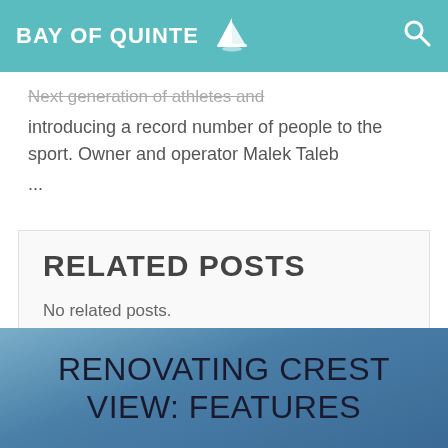BAY OF QUINTE
Next generation of athletes and introducing a record number of people to the sport. Owner and operator Malek Taleb ...
RELATED POSTS
No related posts.
RENOVATING CREST VIEW: FEATURES